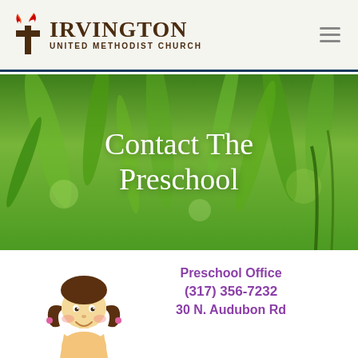Irvington United Methodist Church
Contact The Preschool
[Figure (illustration): Cartoon illustration of a smiling girl with brown hair and pigtails, rosy cheeks]
Preschool Office
(317) 356-7232
30 N. Audubon Rd